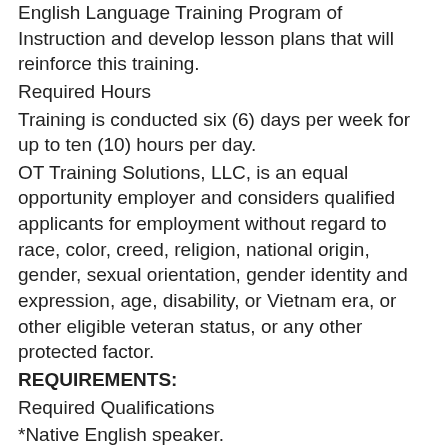English Language Training Program of Instruction and develop lesson plans that will reinforce this training.
Required Hours
Training is conducted six (6) days per week for up to ten (10) hours per day.
OT Training Solutions, LLC, is an equal opportunity employer and considers qualified applicants for employment without regard to race, color, creed, religion, national origin, gender, sexual orientation, gender identity and expression, age, disability, or Vietnam era, or other eligible veteran status, or any other protected factor.
REQUIREMENTS:
Required Qualifications
*Native English speaker.
*Minimum of two (2) years teaching experience